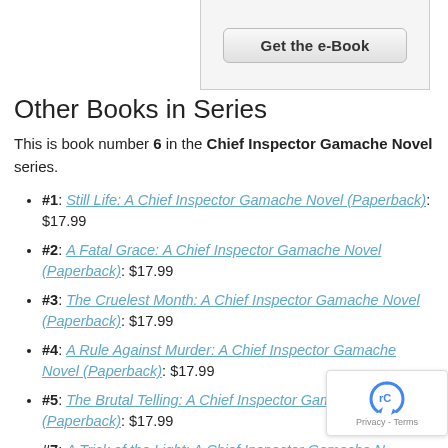[Figure (screenshot): Top portion of a web widget with a 'Get the e-Book' button on a light gray background]
Other Books in Series
This is book number 6 in the Chief Inspector Gamache Novel series.
#1: Still Life: A Chief Inspector Gamache Novel (Paperback): $17.99
#2: A Fatal Grace: A Chief Inspector Gamache Novel (Paperback): $17.99
#3: The Cruelest Month: A Chief Inspector Gamache Novel (Paperback): $17.99
#4: A Rule Against Murder: A Chief Inspector Gamache Novel (Paperback): $17.99
#5: The Brutal Telling: A Chief Inspector Gamache Novel (Paperback): $17.99
#7: A Trick of the Light: A Chief Inspector Gamache Novel (Paperback): $17.99